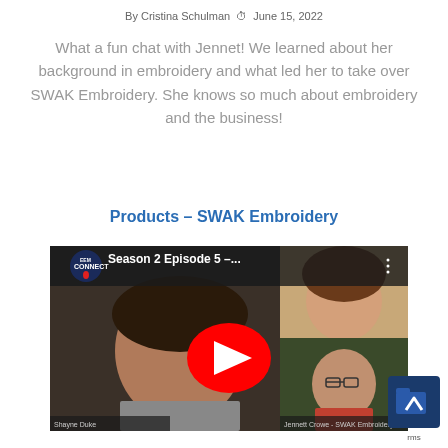By Cristina Schulman  ⏰  June 15, 2022
What a fun chat with Jennet! We learned about her background in embroidery and what led her to take over SWAK Embroidery. She knows so much about embroidery and the business!
Products – SWAK Embroidery
[Figure (screenshot): YouTube video thumbnail showing EEM Connect podcast Season 2 Episode 5 with three women on a video call. A large red YouTube play button is centered on the image.]